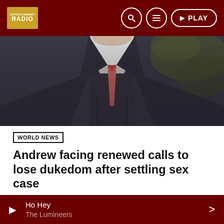RADIO — navigation bar with search, menu, and PLAY button
[Figure (photo): Close-up photo of a man in a dark suit jacket with a red/pink tie, face cropped out, background vegetation]
WORLD NEWS
Andrew facing renewed calls to lose dukedom after settling sex case
The Duke of York is facing a renewed call to give up one of his last remaining major titles after agreeing to settle the civil sex assault claim against him for what is widely reported to be a multimillion-pound sum. Andrew, whose status as a member of the royal family was left in tatters last month after the Queen stripped him of his honorary military roles and he gave up [...]
Ho Hey — The Lumineers